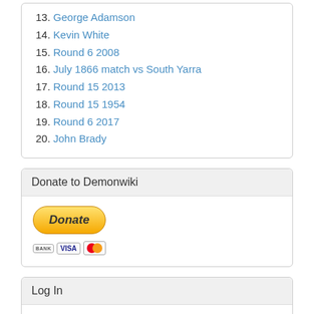13. George Adamson
14. Kevin White
15. Round 6 2008
16. July 1866 match vs South Yarra
17. Round 15 2013
18. Round 15 1954
19. Round 6 2017
20. John Brady
Donate to Demonwiki
[Figure (other): PayPal donate button with bank, VISA, and Mastercard logos]
Log In
Email address or Username :